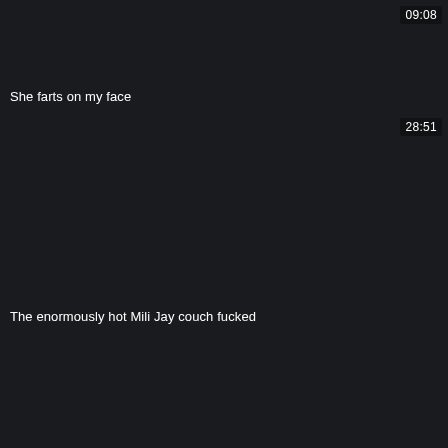[Figure (screenshot): Dark video thumbnail card with timestamp 09:08 in top right corner]
She farts on my face
[Figure (screenshot): Dark video thumbnail card with timestamp 28:51 in bottom right corner]
The enormously hot Mili Jay couch fucked
[Figure (screenshot): Dark video thumbnail card, third card partially visible]